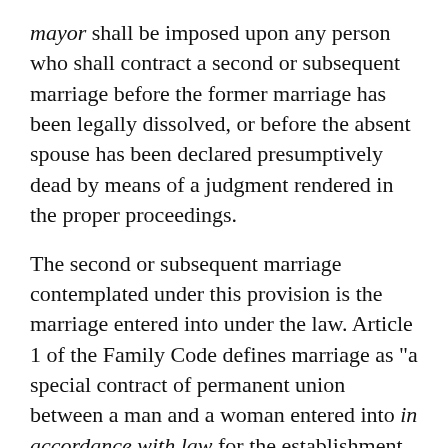mayor shall be imposed upon any person who shall contract a second or subsequent marriage before the former marriage has been legally dissolved, or before the absent spouse has been declared presumptively dead by means of a judgment rendered in the proper proceedings.
The second or subsequent marriage contemplated under this provision is the marriage entered into under the law. Article 1 of the Family Code defines marriage as "a special contract of permanent union between a man and a woman entered into in accordance with law for the establishment of conjugal and family life[.]"
Thus, the validity of the second marriage, if not for the subsistence of the first marriage, is considered one of the elements of the crime of